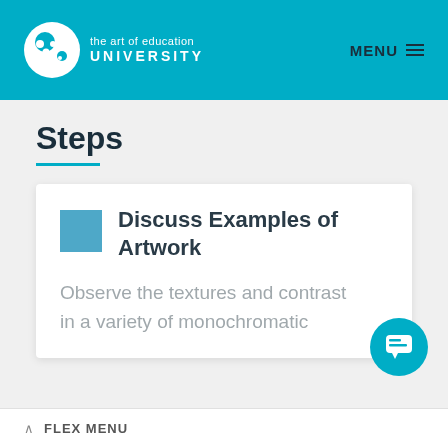the art of education UNIVERSITY | MENU
Steps
Discuss Examples of Artwork
Observe the textures and contrast in a variety of monochromatic
FLEX MENU